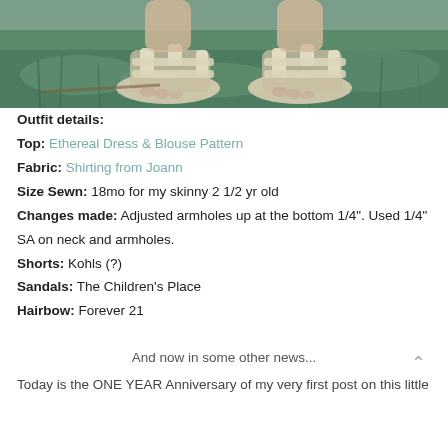[Figure (photo): Close-up photo of a child's feet wearing white sandals, standing on green grass]
Outfit details:
Top: Ethereal Dress & Blouse Pattern
Fabric: Shirting from Joann
Size Sewn: 18mo for my skinny 2 1/2 yr old
Changes made: Adjusted armholes up at the bottom 1/4". Used 1/4"
SA on neck and armholes.
Shorts: Kohls (?)
Sandals: The Children's Place
Hairbow: Forever 21
And now in some other news...
Today is the ONE YEAR Anniversary of my very first post on this little